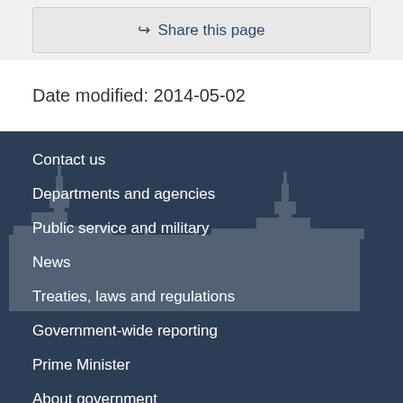Share this page
Date modified: 2014-05-02
Contact us
Departments and agencies
Public service and military
News
Treaties, laws and regulations
Government-wide reporting
Prime Minister
About government
Open government